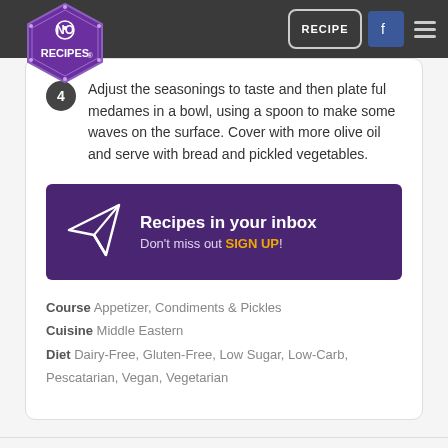NO RECIPES | RECIPE | Facebook | Menu
4 Adjust the seasonings to taste and then plate ful medames in a bowl, using a spoon to make some waves on the surface. Cover with more olive oil and serve with bread and pickled vegetables.
[Figure (infographic): Purple newsletter signup banner with paper plane icon. Text: Recipes in your inbox. Don't miss out SIGN UP!]
Course Appetizer, Condiments & Pickles
Cuisine Middle Eastern
Diet Dairy-Free, Gluten-Free, Low Sugar, Low-Carb, Pescatarian, Vegan, Vegetarian